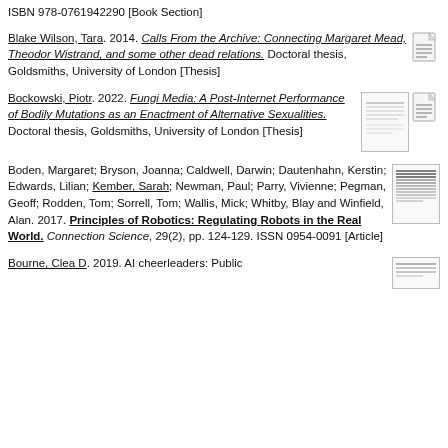ISBN 978-0761942290 [Book Section]
Blake Wilson, Tara. 2014. Calls From the Archive: Connecting Margaret Mead, Theodor Wistrand, and some other dead relations. Doctoral thesis, Goldsmiths, University of London [Thesis]
Bockowski, Piotr. 2022. Fungi Media: A Post-Internet Performance of Bodily Mutations as an Enactment of Alternative Sexualities. Doctoral thesis, Goldsmiths, University of London [Thesis]
Boden, Margaret; Bryson, Joanna; Caldwell, Darwin; Dautenhahn, Kerstin; Edwards, Lilian; Kember, Sarah; Newman, Paul; Parry, Vivienne; Pegman, Geoff; Rodden, Tom; Sorrell, Tom; Wallis, Mick; Whitby, Blay and Winfield, Alan. 2017. Principles of Robotics: Regulating Robots in the Real World. Connection Science, 29(2), pp. 124-129. ISSN 0954-0091 [Article]
Bourne, Clea D. 2019. AI cheerleaders: Public...